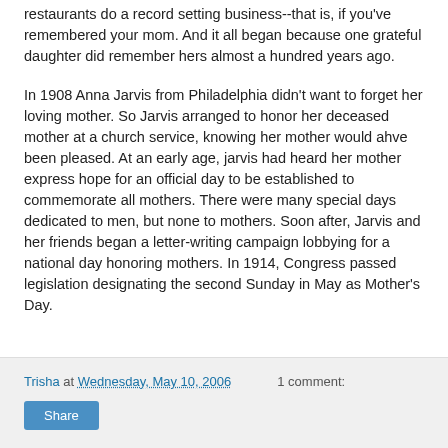restaurants do a record setting business--that is, if you've remembered your mom. And it all began because one grateful daughter did remember hers almost a hundred years ago.
In 1908 Anna Jarvis from Philadelphia didn't want to forget her loving mother. So Jarvis arranged to honor her deceased mother at a church service, knowing her mother would ahve been pleased. At an early age, jarvis had heard her mother express hope for an official day to be established to commemorate all mothers. There were many special days dedicated to men, but none to mothers. Soon after, Jarvis and her friends began a letter-writing campaign lobbying for a national day honoring mothers. In 1914, Congress passed legislation designating the second Sunday in May as Mother's Day.
Trisha at Wednesday, May 10, 2006    1 comment:  Share